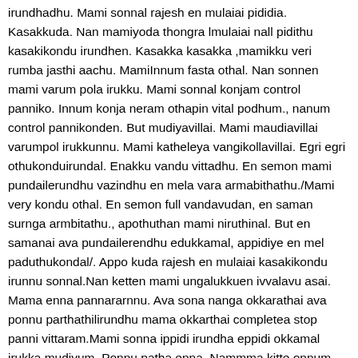irundhadhu. Mami sonnal rajesh en mulaiai pididia. Kasakkuda. Nan mamiyoda thongra lmulaiai nall pidithu kasakikondu irundhen. Kasakka kasakka ,mamikku veri rumba jasthi aachu. MamiInnum fasta othal. Nan sonnen mami varum pola irukku. Mami sonnal konjam control panniko. Innum konja neram othapin vital podhum., nanum control pannikonden. But mudiyavillai. Mami maudiavillai varumpol irukkunnu. Mami katheleya vangikollavillai. Egri egri othukonduirundal. Enakku vandu vittadhu. En semon mami pundailerundhu vazindhu en mela vara armabithathu./Mami very kondu othal. En semon full vandavudan, en saman surnga armbitathu., apothuthan mami niruthinal. But en samanai ava pundailerendhu edukkamal, appidiye en mel paduthukondal/. Appo kuda rajesh en mulaiai kasakikondu irunnu sonnal.Nan ketten mami ungalukkuen ivvalavu asai. Mama enna pannararnnu. Ava sona nanga okkarathai ava ponnu parthathilirundhu mama okkarthai completea stop panni vittaram.Mami sonna ippidi irundha eppidi okkamal irukka mudiyum. Ponnu patha enna. Nammma kitte onnum